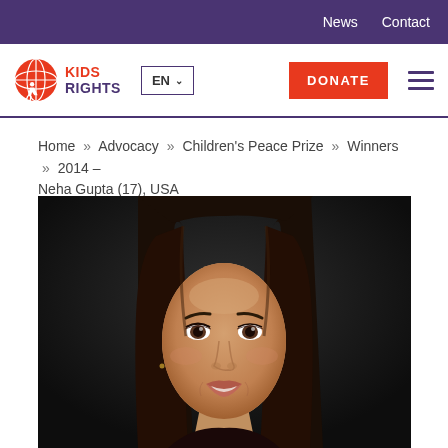News  Contact
[Figure (logo): KidsRights logo with globe icon and red/purple text]
Home » Advocacy » Children's Peace Prize » Winners » 2014 – Neha Gupta (17), USA
[Figure (photo): Portrait photo of Neha Gupta, a young woman with long dark hair, smiling, against a dark background]